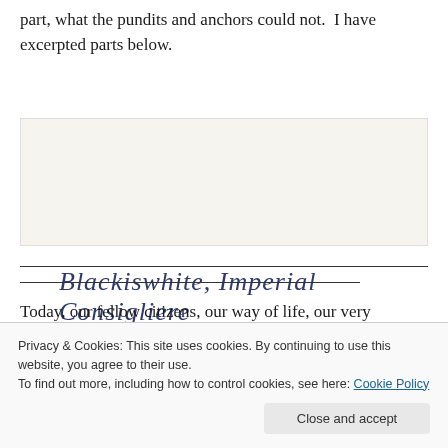part, what the pundits and anchors could not.  I have excerpted parts below.
[Figure (illustration): Handwritten signature on cream/off-white background reading: Blackiswhite, Imperial Consigliere]
Today, our fellow citizens, our way of life, our very freedom
Privacy & Cookies: This site uses cookies. By continuing to use this website, you agree to their use.
To find out more, including how to control cookies, see here: Cookie Policy
Close and accept
[Figure (photo): Partial photo visible at the bottom of the page]